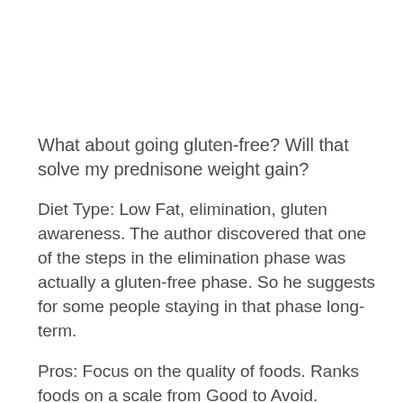What about going gluten-free? Will that solve my prednisone weight gain?
Diet Type: Low Fat, elimination, gluten awareness. The author discovered that one of the steps in the elimination phase was actually a gluten-free phase. So he suggests for some people staying in that phase long-term.
Pros: Focus on the quality of foods. Ranks foods on a scale from Good to Avoid.
Cons: Demonizes butter; use I Can't Believe